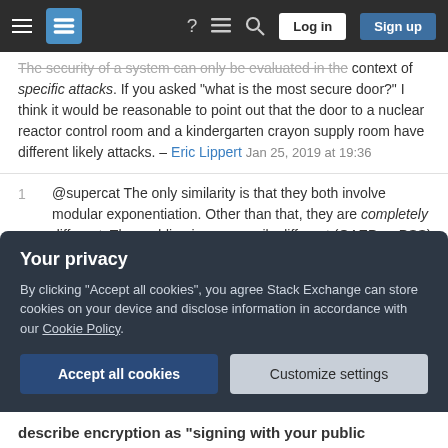Stack Exchange navigation bar with Log in and Sign up buttons
The security of a system can only be evaluated in the context of specific attacks. If you asked "what is the most secure door?" I think it would be reasonable to point out that the door to a nuclear reactor control room and a kindergarten crayon supply room have different likely attacks. – Eric Lippert Jan 25, 2019 at 19:36
@supercat The only similarity is that they both involve modular exponentiation. Other than that, they are completely different. The padding is necessarily different (OAEP vs PSS), the source of the exponents are different (public vs private exponent), the way the result is used is different, the performance is different, the security requirements are different, etc. That's like
Your privacy
By clicking "Accept all cookies", you agree Stack Exchange can store cookies on your device and disclose information in accordance with our Cookie Policy.
describe encryption as "signing with your public